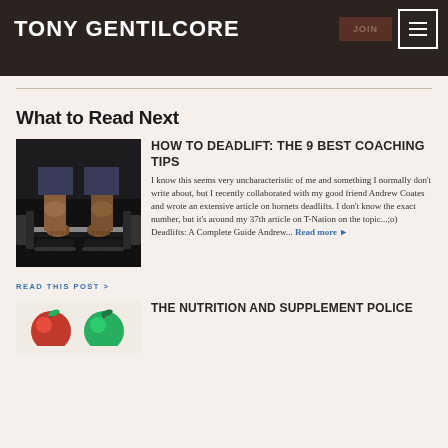TONY GENTILCORE
What to Read Next
[Figure (photo): Person gripping a barbell at floor level, wearing black sneakers, gym background]
HOW TO DEADLIFT: THE 9 BEST COACHING TIPS
I know this seems very uncharacteristic of me and something I normally don't write about, but I recently collaborated with my good friend Andrew Coates and wrote an extensive article on hornets deadlifts. I don't know the exact number, but it's around my 37th article on T-Nation on the topic...;o) Deadlifts: A Complete Guide Andrew... Read more
READ THIS POST >
[Figure (photo): Apples — red and green fruit on white background]
THE NUTRITION AND SUPPLEMENT POLICE